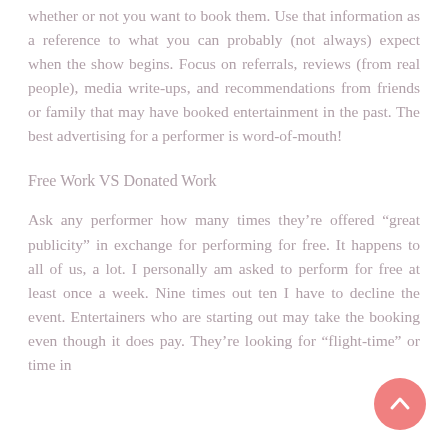whether or not you want to book them. Use that information as a reference to what you can probably (not always) expect when the show begins. Focus on referrals, reviews (from real people), media write-ups, and recommendations from friends or family that may have booked entertainment in the past. The best advertising for a performer is word-of-mouth!
Free Work VS Donated Work
Ask any performer how many times they're offered “great publicity” in exchange for performing for free. It happens to all of us, a lot. I personally am asked to perform for free at least once a week. Nine times out ten I have to decline the event. Entertainers who are starting out may take the booking even though it does pay. They're looking for “flight-time” or time in